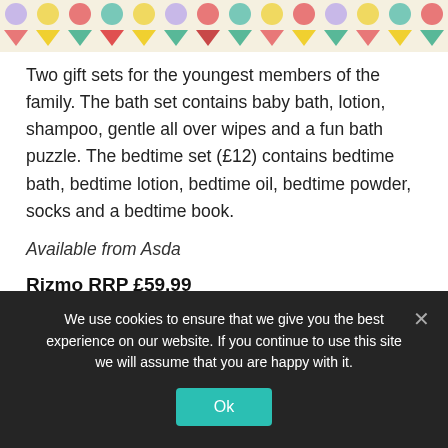[Figure (illustration): Decorative strip with colorful dots and triangles pattern — pastel colors including yellow, pink, green, purple, teal on light background]
Two gift sets for the youngest members of the family. The bath set contains baby bath, lotion, shampoo, gentle all over wipes and a fun bath puzzle. The bedtime set (£12) contains bedtime bath, bedtime lotion, bedtime oil, bedtime powder, socks and a bedtime book.
Available from Asda
Rizmo RRP £59.99
We use cookies to ensure that we give you the best experience on our website. If you continue to use this site we will assume that you are happy with it.